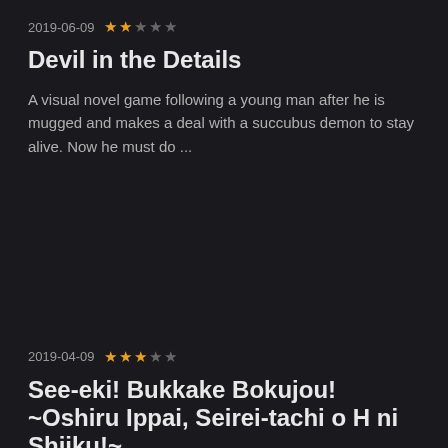2019-06-09 ★★☆☆☆
Devil in the Details
A visual novel game following a young man after he is mugged and makes a deal with a succubus demon to stay alive. Now he must do ...
2019-04-09 ★★★☆☆
See-eki! Bukkake Bokujou! ~Oshiru Ippai, Seirei-tachi o H ni Shiiku!~
Cum on down to the peaceful Bukkake Ranch, a good old farm out of the way from all the commotion and hubbub of the